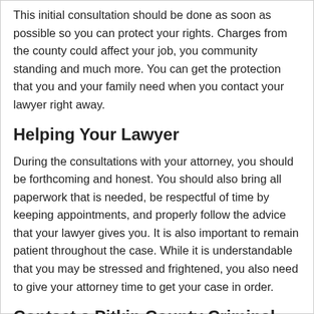This initial consultation should be done as soon as possible so you can protect your rights. Charges from the county could affect your job, you community standing and much more. You can get the protection that you and your family need when you contact your lawyer right away.
Helping Your Lawyer
During the consultations with your attorney, you should be forthcoming and honest. You should also bring all paperwork that is needed, be respectful of time by keeping appointments, and properly follow the advice that your lawyer gives you. It is also important to remain patient throughout the case. While it is understandable that you may be stressed and frightened, you also need to give your attorney time to get your case in order.
Contact a Pitkin County Criminal Lawyer Right Now